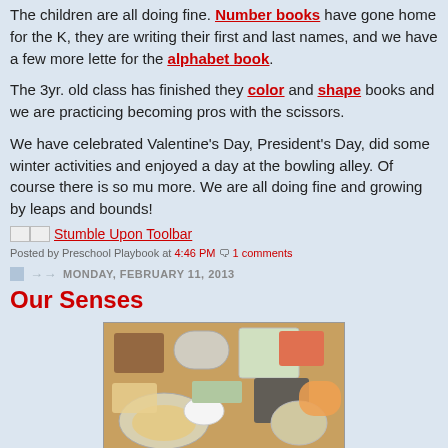The children are all doing fine. Number books have gone home for the K, they are writing their first and last names, and we have a few more lette for the alphabet book.
The 3yr. old class has finished they color and shape books and we are practicing becoming pros with the scissors.
We have celebrated Valentine's Day, President's Day, did some winter activities and enjoyed a day at the bowling alley.  Of course there is so mu more.  We are all doing fine and growing by leaps and bounds!
Stumble Upon Toolbar
Posted by Preschool Playbook at 4:46 PM 1 comments
MONDAY, FEBRUARY 11, 2013
Our Senses
[Figure (photo): Overhead photo of a classroom table with various foods in bowls and containers for a senses activity]
[Figure (photo): Partial photo of a classroom with colorful materials on a table, partially visible at bottom of page]